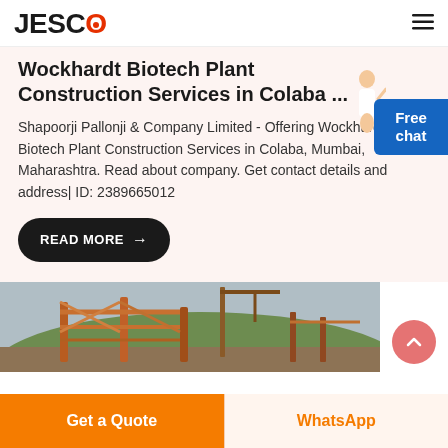JESCO
Wockhardt Biotech Plant Construction Services in Colaba ...
Shapoorji Pallonji & Company Limited - Offering Wockhardt Biotech Plant Construction Services in Colaba, Mumbai, Maharashtra. Read about company. Get contact details and address| ID: 2389665012
READ MORE →
[Figure (photo): Industrial construction site with orange metalwork structures and cranes against a hillside background]
Get a Quote
WhatsApp